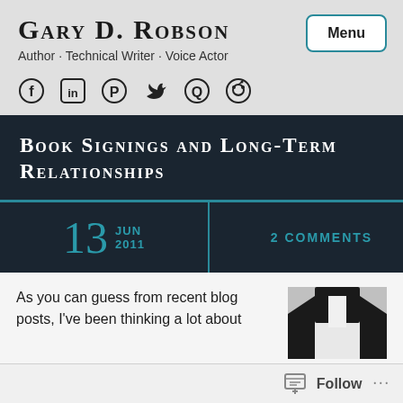Gary D. Robson
Author · Technical Writer · Voice Actor
[Figure (infographic): Social media icons: Facebook, LinkedIn, Pinterest, Twitter, Quora, Reddit]
Book signings and long-term relationships
13 JUN 2011
2 COMMENTS
As you can guess from recent blog posts, I've been thinking a lot about...
[Figure (photo): Photo of a person in a suit, partial view]
Follow ...